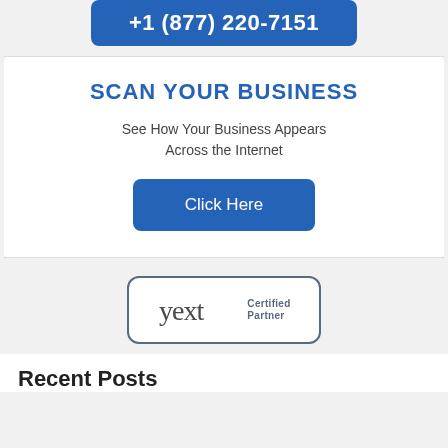[Figure (other): Blue button with phone number +1 (877) 220-7151]
SCAN YOUR BUSINESS
See How Your Business Appears Across the Internet
[Figure (other): Blue 'Click Here' button]
[Figure (logo): Yext Certified Partner badge/logo]
Recent Posts